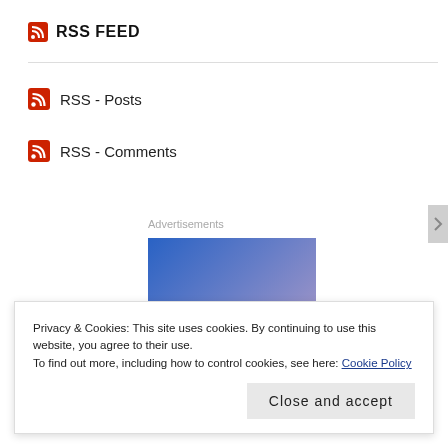RSS FEED
RSS - Posts
RSS - Comments
[Figure (other): Advertisement placeholder block with blue-to-purple gradient background]
Privacy & Cookies: This site uses cookies. By continuing to use this website, you agree to their use.
To find out more, including how to control cookies, see here: Cookie Policy
Close and accept